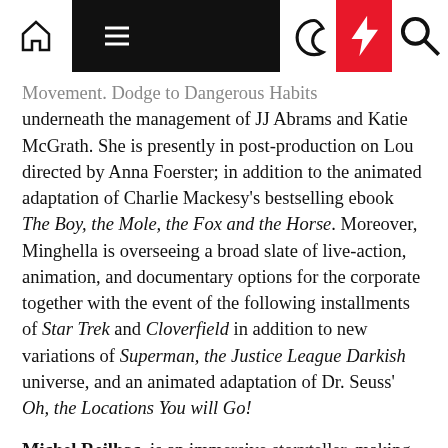Navigation bar with home, menu, dark mode, lightning, and search icons
Movement. Dodge to Dangerous Habits underneath the management of JJ Abrams and Katie McGrath. She is presently in post-production on Lou directed by Anna Foerster; in addition to the animated adaptation of Charlie Mackesy's bestselling ebook The Boy, the Mole, the Fox and the Horse. Moreover, Minghella is overseeing a broad slate of live-action, animation, and documentary options for the corporate together with the event of the following installments of Star Trek and Cloverfield in addition to new variations of Superman, the Justice League Darkish universe, and an animated adaptation of Dr. Seuss' Oh, the Locations You will Go!
Michel Reilhac, is an immersive storyteller, making movies in Digital Actuality, creating participatory experiences in actual life and throughout media. He's the founding curator of Venice VR, the official